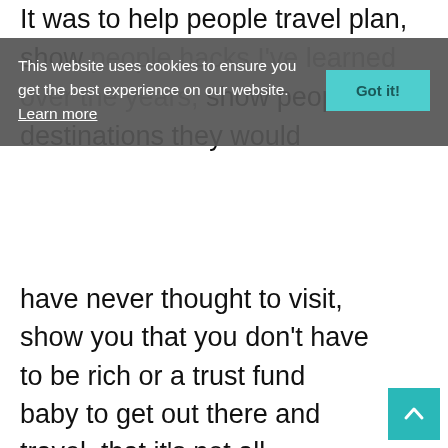It was to help people travel plan, show people hacks I've learned over the years, show people destinations they would
[Figure (screenshot): Cookie consent banner overlay on a website reading: 'This website uses cookies to ensure you get the best experience on our website. Learn more' with a teal 'Got it!' button.]
have never thought to visit, show you that you don't have to be rich or a trust fund baby to get out there and travel, that it's not all rainbows and unicorns* and perfectly manicured beaches and not-shit in white pants, and of course the occasional rant.